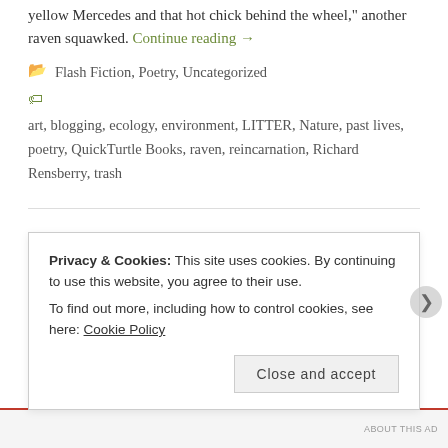yellow Mercedes and that hot chick behind the wheel," another raven squawked. Continue reading →
Flash Fiction, Poetry, Uncategorized
art, blogging, ecology, environment, LITTER, Nature, past lives, poetry, QuickTurtle Books, raven, reincarnation, Richard Rensberry, trash
NEW RELEASE (Book of the Month)
Privacy & Cookies: This site uses cookies. By continuing to use this website, you agree to their use. To find out more, including how to control cookies, see here: Cookie Policy
Close and accept